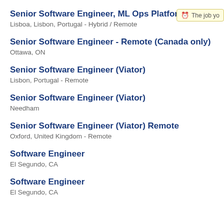Senior Software Engineer, ML Ops Platform
Lisboa, Lisbon, Portugal - Hybrid / Remote
Senior Software Engineer - Remote (Canada only)
Ottawa, ON
Senior Software Engineer (Viator)
Lisbon, Portugal - Remote
Senior Software Engineer (Viator)
Needham
Senior Software Engineer (Viator) Remote
Oxford, United Kingdom - Remote
Software Engineer
El Segundo, CA
Software Engineer
El Segundo, CA